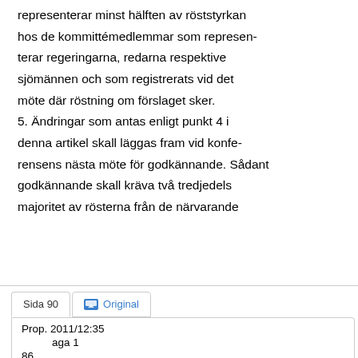representerar minst hälften av röststyrkan hos de kommittémedlemmar som representerar regeringarna, redarna respektive sjömännen och som registrerats vid det möte där röstning om förslaget sker. 5. Ändringar som antas enligt punkt 4 i denna artikel skall läggas fram vid konferensens nästa möte för godkännande. Sådant godkännande skall kräva två tredjedels majoritet av rösterna från de närvarande
Sida 90 | Original
Prop. 2011/12:35
Bilaga 1
86
votes cast by the delegates present. If such